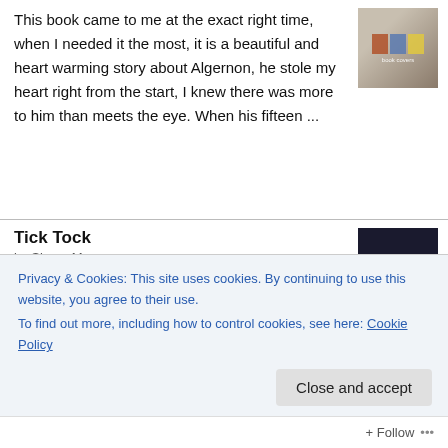This book came to me at the exact right time, when I needed it the most, it is a beautiful and heart warming story about Algernon, he stole my heart right from the start, I knew there was more to him than meets the eye. When his fifteen ...
Tick Tock
by Simon Mayo
This is my first book by Simon, I never knew he had written a couple of other books. I have to be honest and say that the first part of the plot sounded great but the rest of it just made me think of Covid. It was like how can I use some...
Everything We Are
by Karen Angelico
Privacy & Cookies: This site uses cookies. By continuing to use this website, you agree to their use.
To find out more, including how to control cookies, see here: Cookie Policy
Close and accept
Follow ...